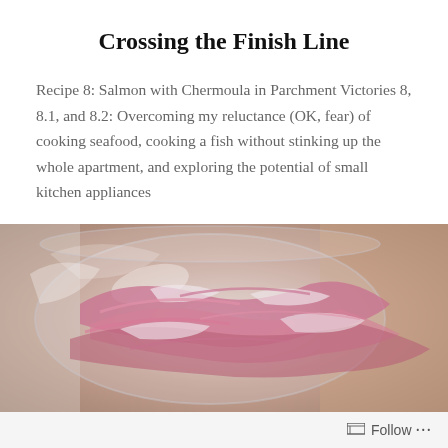Crossing the Finish Line
Recipe 8: Salmon with Chermoula in Parchment Victories 8, 8.1, and 8.2: Overcoming my reluctance (OK, fear) of cooking seafood, cooking a fish without stinking up the whole apartment, and exploring the potential of small kitchen appliances
[Figure (photo): Close-up photo of a glass jar containing pink and white onion or vegetable slices, with a blurred background showing warm tones.]
Follow ...